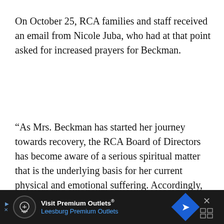On October 25, RCA families and staff received an email from Nicole Juba, who had at that point asked for increased prayers for Beckman.
“As Mrs. Beckman has started her journey towards recovery, the RCA Board of Directors has become aware of a serious spiritual matter that is the underlying basis for her current physical and emotional suffering. Accordingly, the Board has asked her to take additional time
[Figure (other): Advertisement banner for Visit Premium Outlets - Leesburg Premium Outlets with logo icon and navigation arrow icon]